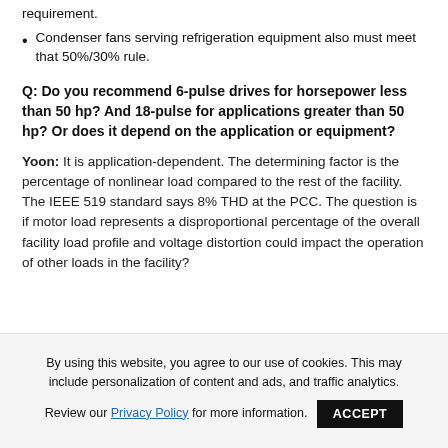requirement.
Condenser fans serving refrigeration equipment also must meet that 50%/30% rule.
Q: Do you recommend 6-pulse drives for horsepower less than 50 hp? And 18-pulse for applications greater than 50 hp? Or does it depend on the application or equipment?
Yoon: It is application-dependent. The determining factor is the percentage of nonlinear load compared to the rest of the facility. The IEEE 519 standard says 8% THD at the PCC. The question is if motor load represents a disproportional percentage of the overall facility load profile and voltage distortion could impact the operation of other loads in the facility?
By using this website, you agree to our use of cookies. This may include personalization of content and ads, and traffic analytics. Review our Privacy Policy for more information. ACCEPT